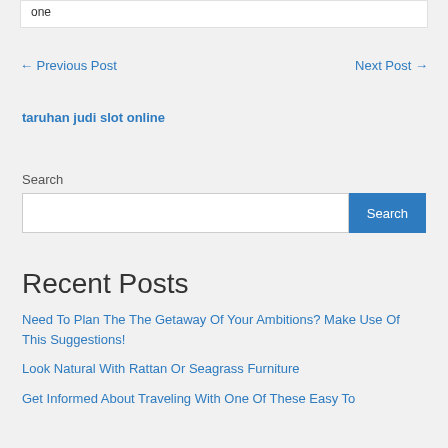one
← Previous Post    Next Post →
taruhan judi slot online
Search
Search
Recent Posts
Need To Plan The The Getaway Of Your Ambitions? Make Use Of This Suggestions!
Look Natural With Rattan Or Seagrass Furniture
Get Informed About Traveling With One Of These Easy To